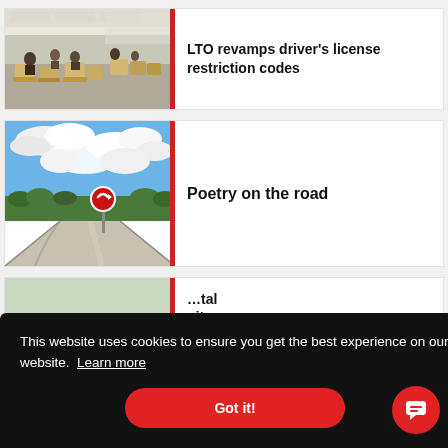[Figure (screenshot): Article card with photo of a waiting area (LTO office) with chairs and people, with a red vertical bar on the right edge of the image]
LTO revamps driver's license restriction codes
[Figure (screenshot): Article card with photo of a road curving with a warning sign, blue sky with clouds, and vegetation on the sides, with a red vertical bar on the right edge]
Poetry on the road
This website uses cookies to ensure you get the best experience on our website. Learn more
Got it!